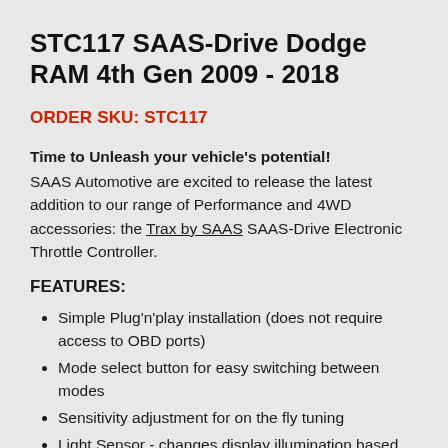STC117 SAAS-Drive Dodge RAM 4th Gen 2009 - 2018
ORDER SKU: STC117
Time to Unleash your vehicle's potential! SAAS Automotive are excited to release the latest addition to our range of Performance and 4WD accessories: the Trax by SAAS SAAS-Drive Electronic Throttle Controller.
FEATURES:
Simple Plug'n'play installation (does not require access to OBD ports)
Mode select button for easy switching between modes
Sensitivity adjustment for on the fly tuning
Light Sensor - changes display illumination based on ambient light
Whether you're looking to improve your fuel economy, towing ability, or just to be a more exciting the 4th